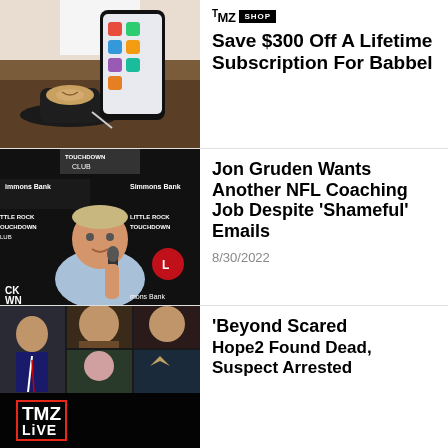[Figure (photo): Person holding a smartphone showing an app, with a latte coffee cup on a table]
Save $300 Off A Lifetime Subscription For Babbel
[Figure (photo): Jon Gruden speaking at a microphone at a Touchdown Club event with Simmons Bank sponsorship banners]
Jon Gruden Wants Another NFL Coaching Job Despite 'Shameful' Emails
8/30/2022
[Figure (screenshot): TMZ Live banner overlaid on photo collage with WHERE TO WATCH button]
'Beyond Scared, Hope2 Found Dead, Suspect Arrested